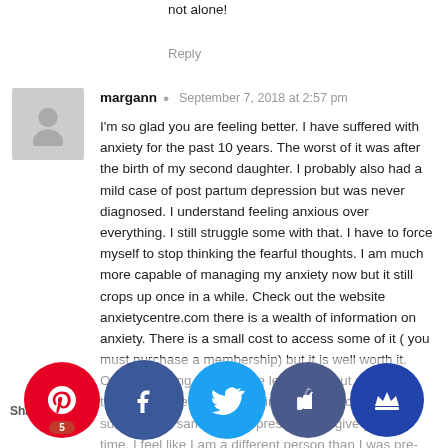not alone!
Reply
margann · September 7, 2018 at 2:57 pm
I'm so glad you are feeling better. I have suffered with anxiety for the past 10 years. The worst of it was after the birth of my second daughter. I probably also had a mild case of post partum depression but was never diagnosed. I understand feeling anxious over everything. I still struggle some with that. I have to force myself to stop thinking the fearful thoughts. I am much more capable of managing my anxiety now but it still crops up once in a while. Check out the website anxietycentre.com there is a wealth of information on anxiety. There is a small cost to access some of it ( you must purchase a membership) but it is well worth it. One interesting thing I have learned about anxiety is that it can take a very long time to fully recover. I am sure it is the same with depression. So give yourself time. I feel like I am a different person than I was pre- and it has taken me some time to accept that because I looked at as a loss. Now that is part of me. And so is ok. Thanks for sharing your story!
6 Shares